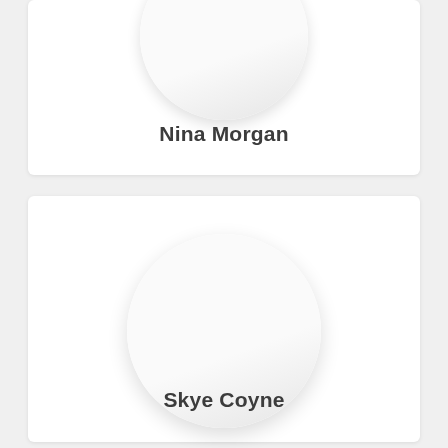[Figure (illustration): Circular avatar placeholder (white circle with light gray shadow) for Nina Morgan, partially cropped at top of page]
Nina Morgan
[Figure (illustration): Circular avatar placeholder (white circle with light gray shadow) for Skye Coyne]
Skye Coyne